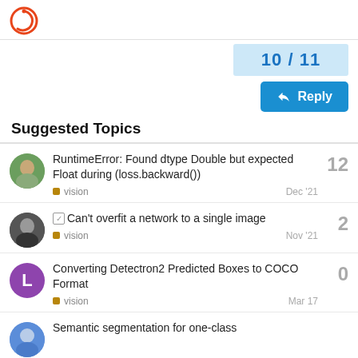PyTorch Forums logo
10 / 11
Reply
Suggested Topics
RuntimeError: Found dtype Double but expected Float during (loss.backward()) — vision — Dec '21 — 12 replies
Can't overfit a network to a single image — vision — Nov '21 — 2 replies
Converting Detectron2 Predicted Boxes to COCO Format — vision — Mar 17 — 0 replies
Semantic segmentation for one-class... (partial)